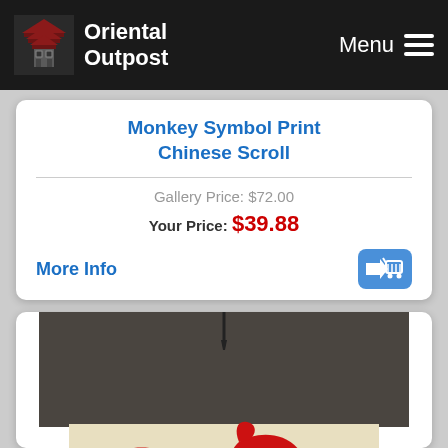Oriental Outpost | Menu
Monkey Symbol Print Chinese Scroll
Gallery Price: $72.00
Your Price: $39.88
More Info
[Figure (photo): Chinese scroll painting showing red koi fish on beige/cream background with dark brown mounting fabric border, hanging scroll with tassel at top]